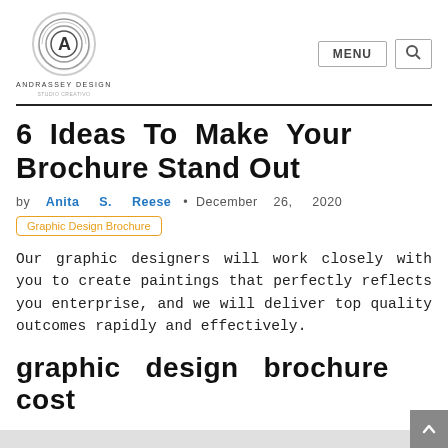Andrassey Design — MENU [search button]
6 Ideas To Make Your Brochure Stand Out
by Anita S. Reese • December 26, 2020
Graphic Design Brochure
Our graphic designers will work closely with you to create paintings that perfectly reflects you enterprise, and we will deliver top quality outcomes rapidly and effectively.
graphic design brochure cost